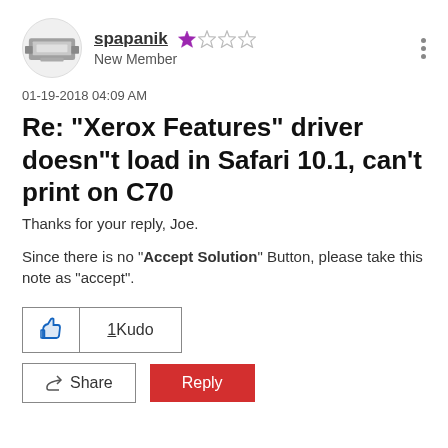[Figure (photo): Avatar circle with a Xerox printer image inside]
spapanik ★☆☆☆ New Member
01-19-2018 04:09 AM
Re: "Xerox Features" driver doesn"t load in Safari 10.1, can't print on C70
Thanks for your reply, Joe.
Since there is no "Accept Solution" Button, please take this note as "accept".
[Figure (screenshot): 1 Kudo button with thumbs up icon]
[Figure (screenshot): Share button and Reply button]